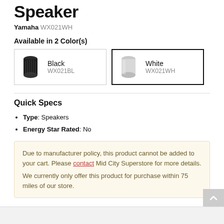Speaker
Yamaha WX021WH
Available in 2 Color(s)
[Figure (other): Two color option cards for the Yamaha speaker: Black (WX021BL) with image of black cylindrical speaker, and White (WX021WH) with image of white cylindrical speaker. White is selected (bold border).]
Quick Specs
Type: Speakers
Energy Star Rated: No
Due to manufacturer policy, this product cannot be added to your cart. Please contact Mid City Superstore for more details.
We currently only offer this product for purchase within 75 miles of our store.